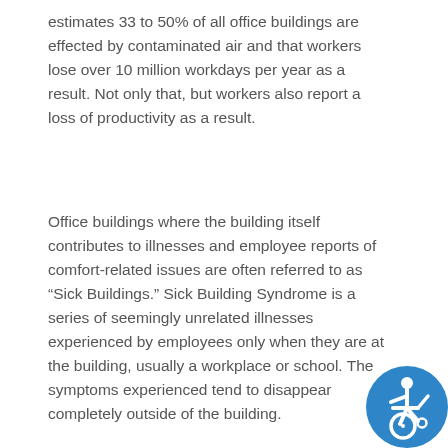estimates 33 to 50% of all office buildings are effected by contaminated air and that workers lose over 10 million workdays per year as a result. Not only that, but workers also report a loss of productivity as a result.
Office buildings where the building itself contributes to illnesses and employee reports of comfort-related issues are often referred to as “Sick Buildings.” Sick Building Syndrome is a series of seemingly unrelated illnesses experienced by employees only when they are at the building, usually a workplace or school. The symptoms experienced tend to disappear completely outside of the building.
[Figure (illustration): Accessibility icon: a blue circle with a white wheelchair user symbol]